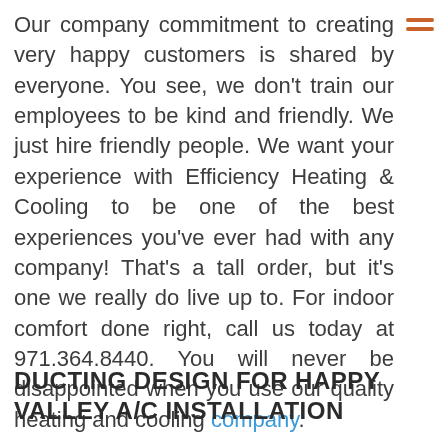Our company commitment to creating very happy customers is shared by everyone. You see, we don't train our employees to be kind and friendly. We just hire friendly people. We want your experience with Efficiency Heating & Cooling to be one of the best experiences you've ever had with any company! That's a tall order, but it's one we really do live up to. For indoor comfort done right, call us today at 971.364.8440. You will never be disappointed when you use our quality heating and cooling company.
DUCTING DESIGN FOR HAPPY VALLEY A/C INSTALLATION